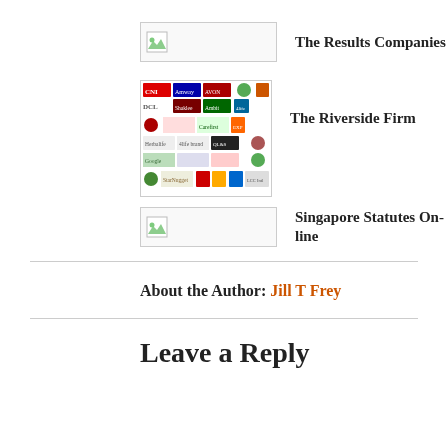[Figure (logo): Placeholder thumbnail with small green leaf/document icon, white background, light border]
The Results Companies
[Figure (illustration): Grid of company logos including CNI, Amway, Avon, DCL, Shaklee, Ambit, Google, and many others]
The Riverside Firm
[Figure (logo): Placeholder thumbnail with small green leaf/document icon, white background, light border]
Singapore Statutes On-line
About the Author: Jill T Frey
Leave a Reply